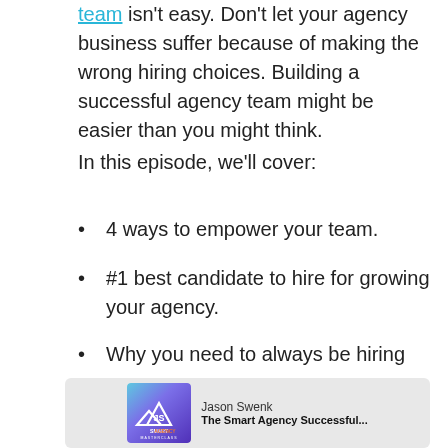team isn't easy. Don't let your agency business suffer because of making the wrong hiring choices. Building a successful agency team might be easier than you might think.
In this episode, we'll cover:
4 ways to empower your team.
#1 best candidate to hire for growing your agency.
Why you need to always be hiring
[Figure (illustration): Smart Agency Masterclass podcast card with logo, hosted by Jason Swenk. Purple/blue gradient background with mountain logo. Text: SMART AGENCY MASTERCLASS. Host name: Jason Swenk. Bottom text: The Smart Agency Successful...]